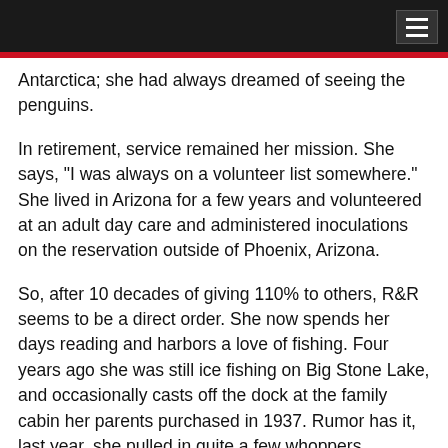Antarctica; she had always dreamed of seeing the penguins.
In retirement, service remained her mission. She says, "I was always on a volunteer list somewhere." She lived in Arizona for a few years and volunteered at an adult day care and administered inoculations on the reservation outside of Phoenix, Arizona.
So, after 10 decades of giving 110% to others, R&R seems to be a direct order. She now spends her days reading and harbors a love of fishing. Four years ago she was still ice fishing on Big Stone Lake, and occasionally casts off the dock at the family cabin her parents purchased in 1937. Rumor has it, last year, she pulled in quite a few whoppers.
She cites Paris as her favorite city to visit, but says the secret to a long life is “being born in South Dakota.” And, “Wilmot has always been home.” As another famous South Dakotan Frank L. Baum wrote in The Wizard of Oz. “There’s no place like, there’s no place